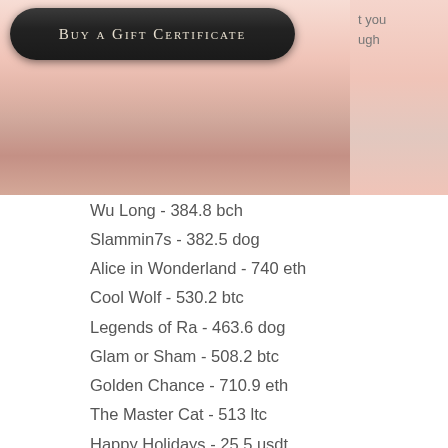[Figure (other): Pink/rose gradient banner image with a dark rounded button labeled 'Buy a Gift Certificate' and partial text on the right side reading 't you' and 'ugh']
Wu Long - 384.8 bch
Slammin7s - 382.5 dog
Alice in Wonderland - 740 eth
Cool Wolf - 530.2 btc
Legends of Ra - 463.6 dog
Glam or Sham - 508.2 btc
Golden Chance - 710.9 eth
The Master Cat - 513 ltc
Happy Holidays - 25.5 usdt
Frozen Diamonds - 550.7 btc
Fancy Fruits - 356.4 eth
Red Chilli - 142.4 btc
Bullseye - 689.3 btc
The Love Guru - 676 bch
Gold Star - 481.4 eth